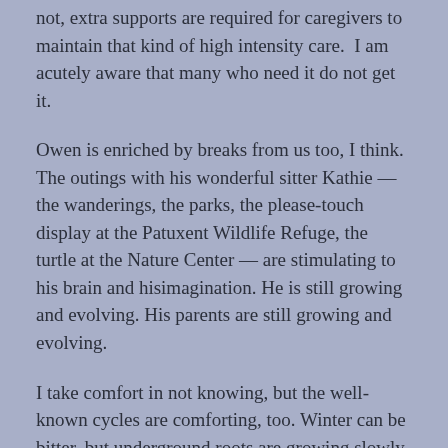not, extra supports are required for caregivers to maintain that kind of high intensity care.  I am acutely aware that many who need it do not get it.
Owen is enriched by breaks from us too, I think. The outings with his wonderful sitter Kathie — the wanderings, the parks, the please-touch display at the Patuxent Wildlife Refuge, the turtle at the Nature Center — are stimulating to his brain and hisimagination. He is still growing and evolving. His parents are still growing and evolving.
I take comfort in not knowing, but the well-known cycles are comforting, too. Winter can be bitter, but underground roots are growing slowly in winter, too. Time moves forward, never back. And spring is always